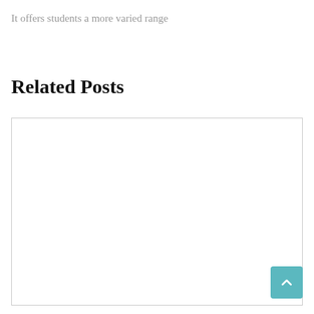It offers students a more varied range
Related Posts
[Figure (other): Empty card/box area for related posts content]
[Figure (other): Scroll-to-top button with upward chevron arrow, teal/cyan background]